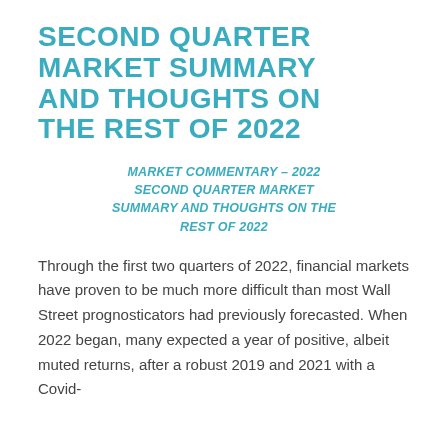SECOND QUARTER MARKET SUMMARY AND THOUGHTS ON THE REST OF 2022
MARKET COMMENTARY – 2022 SECOND QUARTER MARKET SUMMARY AND THOUGHTS ON THE REST OF 2022
Through the first two quarters of 2022, financial markets have proven to be much more difficult than most Wall Street prognosticators had previously forecasted. When 2022 began, many expected a year of positive, albeit muted returns, after a robust 2019 and 2021 with a Covid-